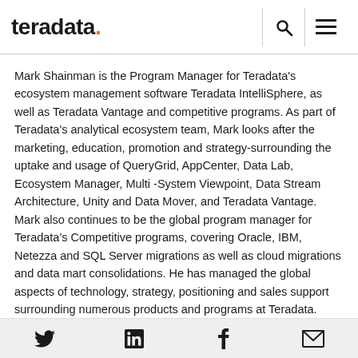[Figure (logo): Teradata logo with orange period]
Mark Shainman is the Program Manager for Teradata's ecosystem management software Teradata IntelliSphere, as well as Teradata Vantage and competitive programs. As part of Teradata's analytical ecosystem team, Mark looks after the marketing, education, promotion and strategy-surrounding the uptake and usage of QueryGrid, AppCenter, Data Lab, Ecosystem Manager, Multi -System Viewpoint, Data Stream Architecture, Unity and Data Mover, and Teradata Vantage. Mark also continues to be the global program manager for Teradata's Competitive programs, covering Oracle, IBM, Netezza and SQL Server migrations as well as cloud migrations and data mart consolidations. He has managed the global aspects of technology, strategy, positioning and sales support surrounding numerous products and programs at Teradata. Prior to joining
Twitter LinkedIn Facebook Email icons